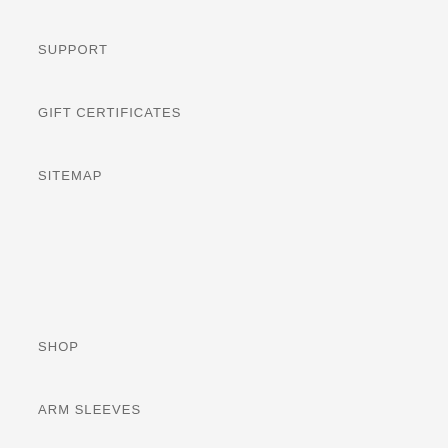SUPPORT
GIFT CERTIFICATES
SITEMAP
SHOP
ARM SLEEVES
GAUNTLETS
GLOVES
OTHER WAYS TO SHOP